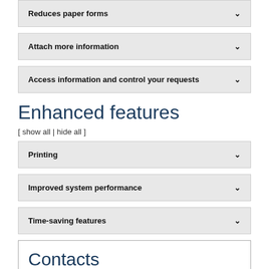Reduces paper forms
Attach more information
Access information and control your requests
Enhanced features
[ show all  |  hide all ]
Printing
Improved system performance
Time-saving features
Contacts